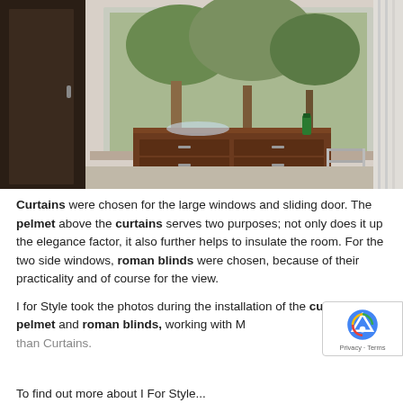[Figure (photo): Interior room photo showing a wooden chest of drawers beneath a large window with a view of trees outside. White curtains on the right side, a step ladder visible, and a wardrobe on the left.]
Curtains were chosen for the large windows and sliding door. The pelmet above the curtains serves two purposes; not only does it up the elegance factor, it also further helps to insulate the room. For the two side windows, roman blinds were chosen, because of their practicality and of course for the view.
I for Style took the photos during the installation of the curtains, pelmet and roman blinds, working with M than Curtains.
To find out more about I For Style...